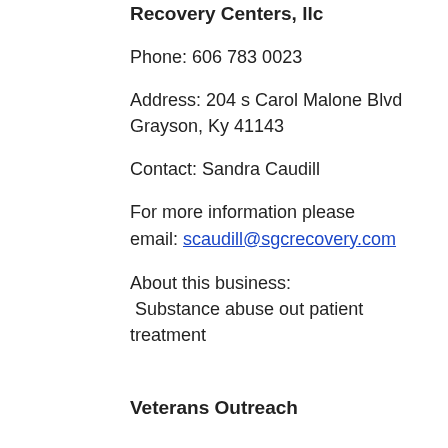Recovery Centers, llc
Phone: 606 783 0023
Address: 204 s Carol Malone Blvd Grayson, Ky 41143
Contact: Sandra Caudill
For more information please email: scaudill@sgcrecovery.com
About this business: Substance abuse out patient treatment
Veterans Outreach
Phone: 606-474-